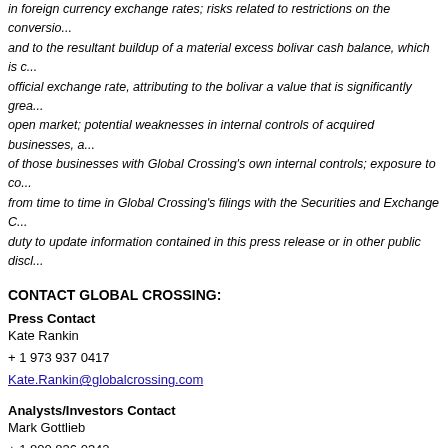in foreign currency exchange rates; risks related to restrictions on the conversion and to the resultant buildup of a material excess bolivar cash balance, which is carried at the official exchange rate, attributing to the bolivar a value that is significantly greater than the open market; potential weaknesses in internal controls of acquired businesses, and integration of those businesses with Global Crossing's own internal controls; exposure to conditions from time to time in Global Crossing's filings with the Securities and Exchange Commission; duty to update information contained in this press release or in other public disclosures.
CONTACT GLOBAL CROSSING:
Press Contact
Kate Rankin
+ 1 973 937 0417
Kate.Rankin@globalcrossing.com
Analysts/Investors Contact
Mark Gottlieb
+ 1 800 836 0342
glbc@globalcrossing.com
Gino Mathew
United Kingdom